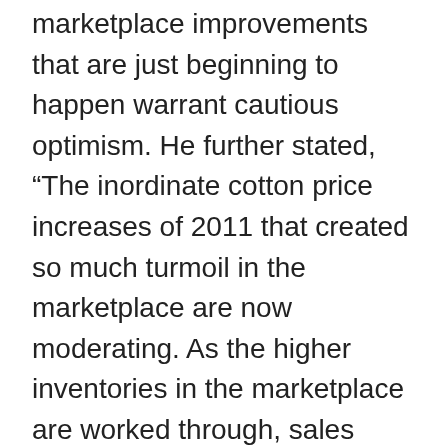marketplace improvements that are just beginning to happen warrant cautious optimism. He further stated, “The inordinate cotton price increases of 2011 that created so much turmoil in the marketplace are now moderating. As the higher inventories in the marketplace are worked through, sales volumes should return to a more normal growth pattern, pricing should stabilize, and we would envision a better business environment going forward."
“In the meantime, we have taken several steps to reduce costs and better position Delta Apparel, Inc. for next year. We have